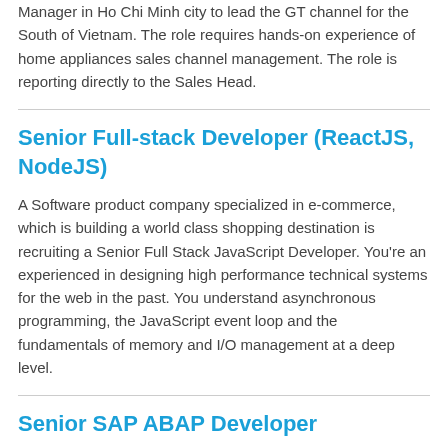Manager in Ho Chi Minh city to lead the GT channel for the South of Vietnam. The role requires hands-on experience of home appliances sales channel management. The role is reporting directly to the Sales Head.
Senior Full-stack Developer (ReactJS, NodeJS)
A Software product company specialized in e-commerce, which is building a world class shopping destination is recruiting a Senior Full Stack JavaScript Developer. You're an experienced in designing high performance technical systems for the web in the past. You understand asynchronous programming, the JavaScript event loop and the fundamentals of memory and I/O management at a deep level.
Senior SAP ABAP Developer
One international IT service company from Europe, specialized in ERP SAP services with offices in different countries (Switzerland, France, US, Vietnam, Singapore, Canada and China) is recruiting Senior ABAP to join their team in Ho Chi Minh. You will need solid experience in ABAP